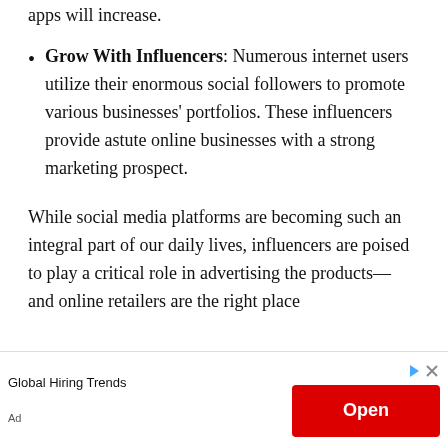apps will increase.
Grow With Influencers: Numerous internet users utilize their enormous social followers to promote various businesses' portfolios. These influencers provide astute online businesses with a strong marketing prospect.
While social media platforms are becoming such an integral part of our daily lives, influencers are poised to play a critical role in advertising the products— and online retailers are the right place
Global Hiring Trends   Open   Ad